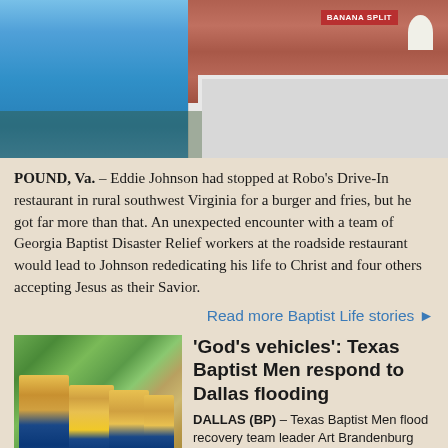[Figure (photo): Person in blue shirt standing outside Robo's Drive-In restaurant with brick building and sign visible]
POUND, Va. – Eddie Johnson had stopped at Robo's Drive-In restaurant in rural southwest Virginia for a burger and fries, but he got far more than that. An unexpected encounter with a team of Georgia Baptist Disaster Relief workers at the roadside restaurant would lead to Johnson rededicating his life to Christ and four others accepting Jesus as their Savior.
Read more Baptist Life stories ▶
[Figure (photo): Texas Baptist Men volunteers in yellow shirts working at flood recovery site in Balch Springs]
'God's vehicles': Texas Baptist Men respond to Dallas flooding
DALLAS (BP) – Texas Baptist Men flood recovery team leader Art Brandenburg was greeted Aug. 26 when he arrived in Balch Springs to help homeowners recover from flooding in the Dallas suburb. "One of the men came out and our vehicles are parked across the street in a field,"